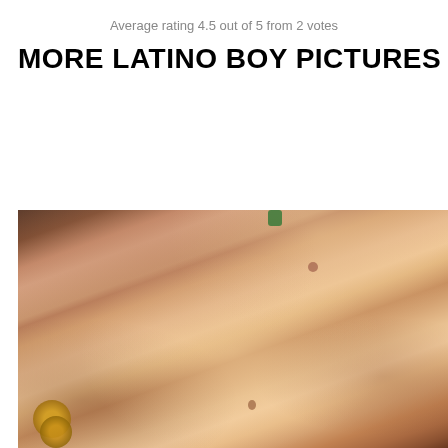Average rating 4.5 out of 5 from 2 votes
MORE LATINO BOY PICTURES
[Figure (photo): Shirtless male torso photo, close-up showing chest and abdomen, with a small green accessory near the collarbone, a gold bracelet on the left wrist, set against a brown/dark background.]